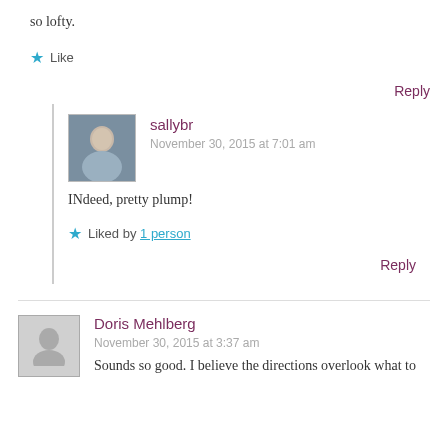so lofty.
★ Like
Reply
sallybr
November 30, 2015 at 7:01 am
INdeed, pretty plump!
★ Liked by 1 person
Reply
Doris Mehlberg
November 30, 2015 at 3:37 am
Sounds so good. I believe the directions overlook what to